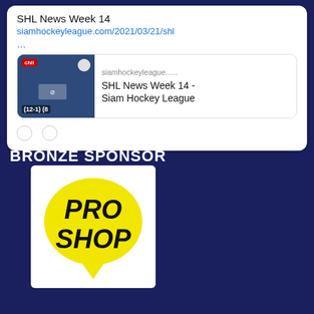[Figure (screenshot): Social media post card showing 'SHL News Week 14' title, a link to siamhockeyleague.com/2021/03/21/shl, an ellipsis '...', and a link preview thumbnail with text 'siamhockeyleague....' and 'SHL News Week 14 - Siam Hockey League']
BRONZE SPONSOR
[Figure (logo): Pro Shop logo: yellow speech-bubble shape with bold italic black text reading 'PRO SHOP' with a yellow curved tail at the bottom, on a white background]